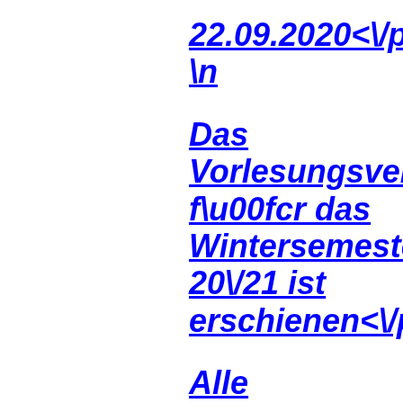22.09.2020<\/p>\n
Das Vorlesungsverzeichnis f\u00fcr das Wintersemester 20\/21 ist erschienen<\/p>\n
Alle Informationen zum